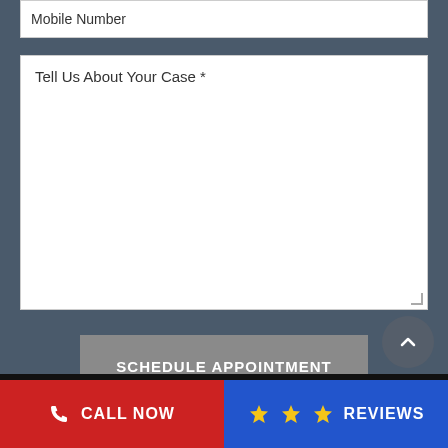Mobile Number
Tell Us About Your Case *
SCHEDULE APPOINTMENT
We do not share or sell your personal information
CALL NOW
REVIEWS